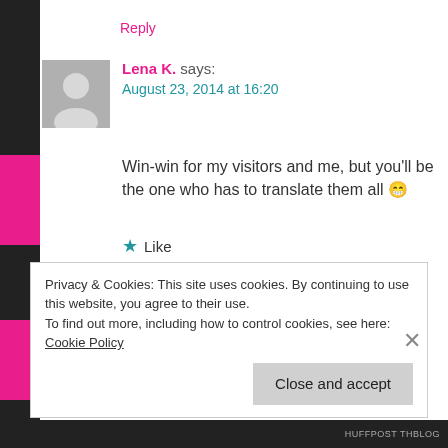Reply
Lena K. says:
August 23, 2014 at 16:20
Win-win for my visitors and me, but you'll be the one who has to translate them all 😀
★ Like
Privacy & Cookies: This site uses cookies. By continuing to use this website, you agree to their use.
To find out more, including how to control cookies, see here: Cookie Policy
Close and accept